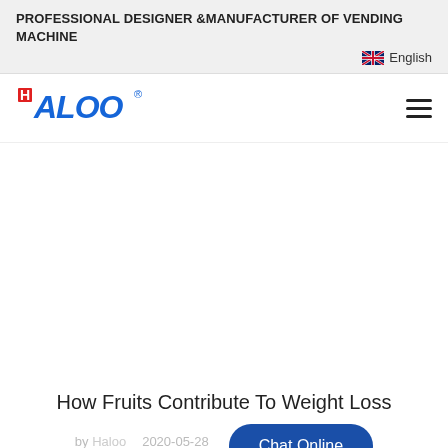PROFESSIONAL DESIGNER &MANUFACTURER OF VENDING MACHINE
English
[Figure (logo): HALOO logo in blue with red H mark and registered trademark symbol]
How Fruits Contribute To Weight Loss
by Haloo   2020-05-28
Chat Online